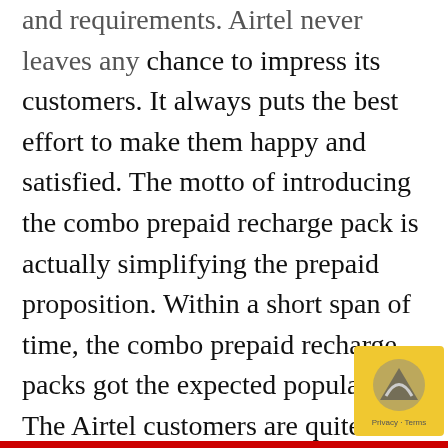and requirements. Airtel never leaves any chance to impress its customers. It always puts the best effort to make them happy and satisfied. The motto of introducing the combo prepaid recharge pack is actually simplifying the prepaid proposition. Within a short span of time, the combo prepaid recharge packs got the expected popularity. The Airtel customers are quite happy with the combo prepaid recharge packs since you can have now data, tariff, talk time, validity etc., at the reasonable prices. No one will ever say “NO” if these facilities get going with the single recharge pack.